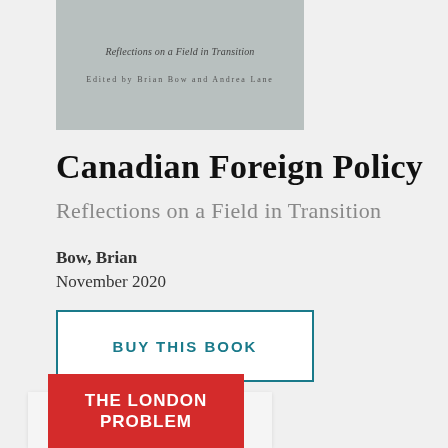[Figure (illustration): Book cover for 'Reflections on a Field in Transition', edited by Brian Bow and Andrea Lane, gray background]
Canadian Foreign Policy
Reflections on a Field in Transition
Bow, Brian
November 2020
BUY THIS BOOK
[Figure (illustration): Book cover for 'The London Problem', red background with white text]